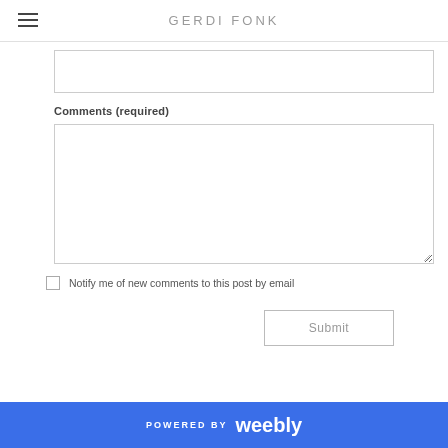GERDI FONK
[Figure (screenshot): A web form showing a top input field (partially visible), a Comments (required) label, a large textarea input box, a checkbox with label 'Notify me of new comments to this post by email', and a Submit button.]
Comments (required)
Notify me of new comments to this post by email
Submit
POWERED BY weebly